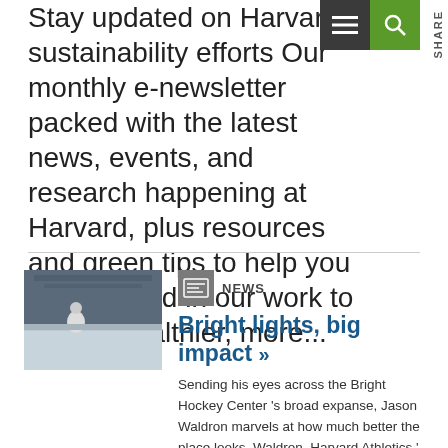Stay updated on Harvard's sustainability efforts Our monthly e-newsletter packed with the latest news, events, and research happening at Harvard, plus resources and green tips to help you get involved in our work to build a healthier, more...
[Figure (photo): Person standing in an ice hockey arena, looking across the rink]
NEWS
Bright lights, big impact »
Sending his eyes across the Bright Hockey Center 's broad expanse, Jason Waldron marvels at how much better the place looks. Waldron, Harvard Athletics ' facilities manager, knows that the super-efficient bulbs he installed earlier this...